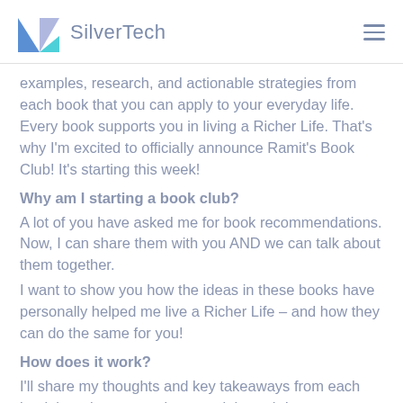SilverTech
examples, research, and actionable strategies from each book that you can apply to your everyday life. Every book supports you in living a Richer Life. That's why I'm excited to officially announce Ramit's Book Club! It's starting this week!
Why am I starting a book club?
A lot of you have asked me for book recommendations. Now, I can share them with you AND we can talk about them together.
I want to show you how the ideas in these books have personally helped me live a Richer Life – and how they can do the same for you!
How does it work?
I'll share my thoughts and key takeaways from each book here in my newsletter and through Instagram, focusing on how YOU can apply them to your own life.